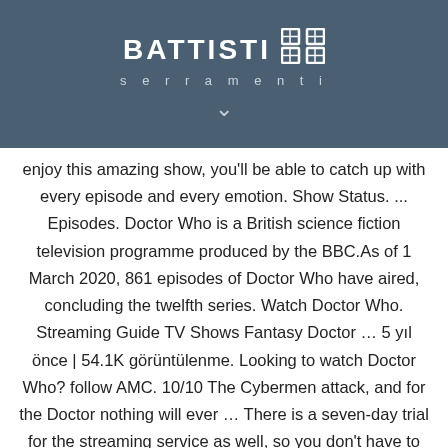BATTISTI serramenti
enjoy this amazing show, you'll be able to catch up with every episode and every emotion. Show Status. ... Episodes. Doctor Who is a British science fiction television programme produced by the BBC.As of 1 March 2020, 861 episodes of Doctor Who have aired, concluding the twelfth series. Watch Doctor Who. Streaming Guide TV Shows Fantasy Doctor … 5 yıl önce | 54.1K görüntülenme. Looking to watch Doctor Who? follow AMC. 10/10 The Cybermen attack, and for the Doctor nothing will ever … There is a seven-day trial for the streaming service as well, so you don't have to give up that chunk of change right away. © 2020 NYP Holdings, Inc. All rights reserved,